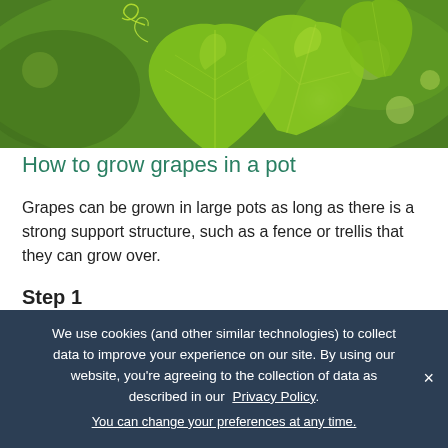[Figure (photo): Close-up photograph of bright green grape vine leaves with a blurred green background]
How to grow grapes in a pot
Grapes can be grown in large pots as long as there is a strong support structure, such as a fence or trellis that they can grow over.
Step 1
Choose a pot at least 600mm wide. Position in full sun
We use cookies (and other similar technologies) to collect data to improve your experience on our site. By using our website, you're agreeing to the collection of data as described in our Privacy Policy.
You can change your preferences at any time.